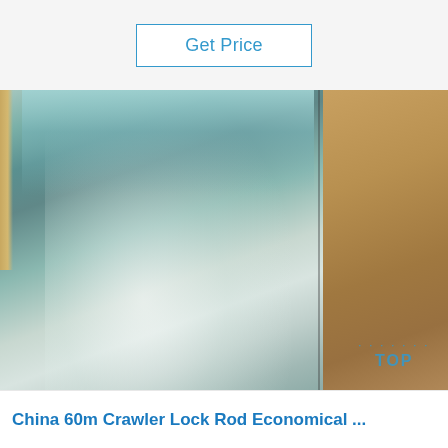Get Price
[Figure (photo): Photo of a shiny metallic/galvanized steel sheet laid on cardboard packaging material, with a teal-silver reflective surface, photographed from above at an angle. A 'TOP' watermark logo appears in the lower right corner.]
China 60m Crawler Lock Rod Economical ...